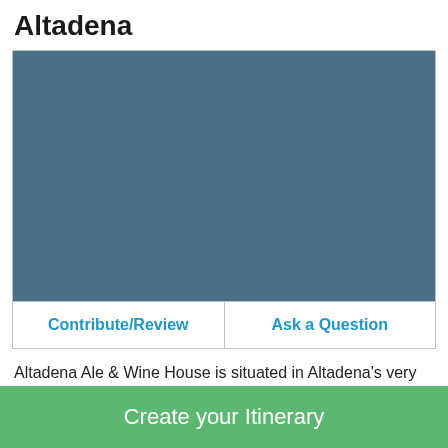Altadena
[Figure (photo): A photo placeholder showing a solid steel-blue/teal rectangle representing an image of Altadena Ale & Wine House]
Contribute/Review
Ask a Question
Altadena Ale & Wine House is situated in Altadena's very
Create your Itinerary